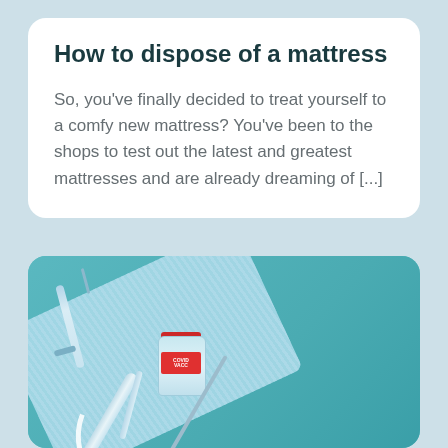How to dispose of a mattress
So, you've finally decided to treat yourself to a comfy new mattress? You've been to the shops to test out the latest and greatest mattresses and are already dreaming of [...]
[Figure (photo): Photo of COVID-19 vaccine vials, syringes, and a surgical face mask on a teal/turquoise background]